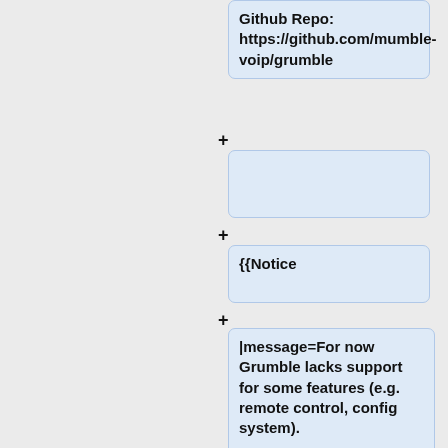Github Repo:
https://github.com/mumble-voip/grumble
{{Notice
|message=For now Grumble lacks support for some features (e.g. remote control, config system).